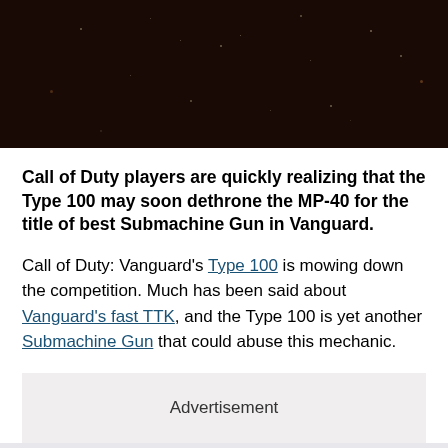[Figure (photo): Dark hero image with a dim reddish-brown background resembling a night sky or smoky scene with small light particles/stars scattered throughout]
Call of Duty players are quickly realizing that the Type 100 may soon dethrone the MP-40 for the title of best Submachine Gun in Vanguard.
Call of Duty: Vanguard's Type 100 is mowing down the competition. Much has been said about Vanguard's fast TTK, and the Type 100 is yet another Submachine Gun that could abuse this mechanic.
Advertisement